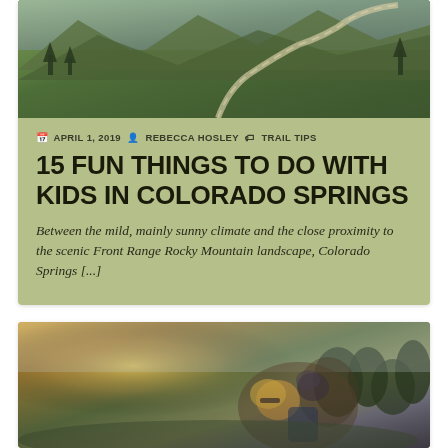[Figure (photo): Aerial/overhead view of a mountain road winding through green alpine landscape with trees and hillsides]
APRIL 1, 2019  REBECCA HOSLEY  TRAIL TIPS
15 FUN THINGS TO DO WITH KIDS IN COLORADO SPRINGS
Between the mild, mainly sunny climate and the close proximity to the scenic Front Range Rocky Mountain landscape, Colorado Springs [...]
[Figure (photo): Woman with sunglasses carrying a child on her back while hiking in a mountain landscape with trees and cloudy sky]